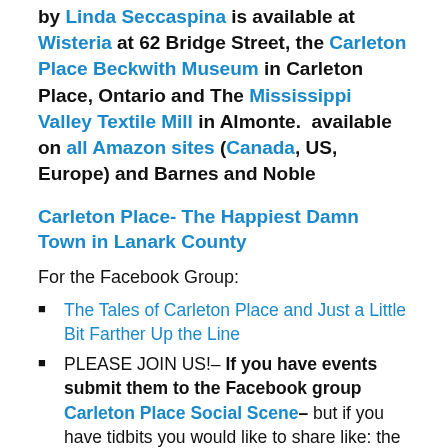by Linda Seccaspina is available at Wisteria at 62 Bridge Street, the Carleton Place Beckwith Museum in Carleton Place, Ontario and The Mississippi Valley Textile Mill in Almonte.  available on all Amazon sites (Canada, US, Europe) and Barnes and Noble
Carleton Place- The Happiest Damn Town in Lanark County
For the Facebook Group:
The Tales of Carleton Place and Just a Little Bit Farther Up the Line
PLEASE JOIN US!– If you have events submit them to the Facebook group Carleton Place Social Scene– but if you have tidbits you would like to share like: the birth of a baby, birthdays, someone new and…and…it has to be a PM…